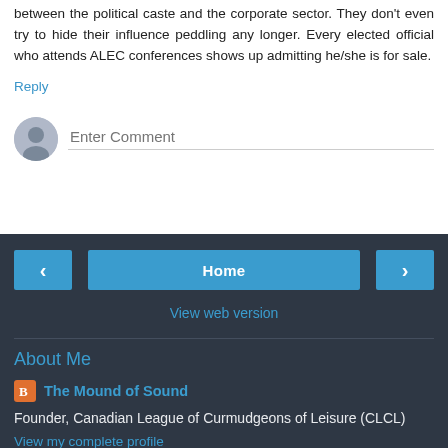between the political caste and the corporate sector. They don't even try to hide their influence peddling any longer. Every elected official who attends ALEC conferences shows up admitting he/she is for sale.
Reply
Enter Comment
Home
View web version
About Me
The Mound of Sound
Founder, Canadian League of Curmudgeons of Leisure (CLCL)
View my complete profile